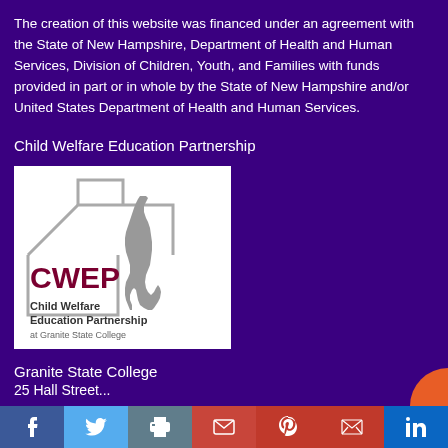The creation of this website was financed under an agreement with the State of New Hampshire, Department of Health and Human Services, Division of Children, Youth, and Families with funds provided in part or in whole by the State of New Hampshire and/or United States Department of Health and Human Services.
Child Welfare Education Partnership
[Figure (logo): CWEP Child Welfare Education Partnership at Granite State College logo with house outline and New Hampshire state map silhouette]
Granite State College
25 Hall Street...
Social share bar: Facebook, Twitter, Print, Email, Pinterest, Gmail, LinkedIn